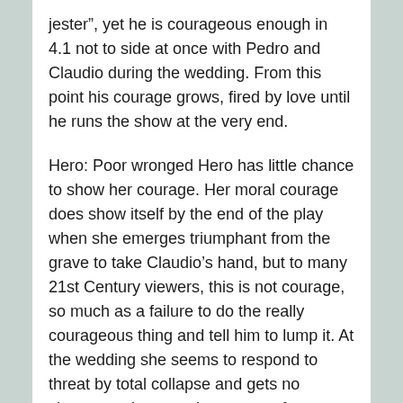jester”, yet he is courageous enough in 4.1 not to side at once with Pedro and Claudio during the wedding. From this point his courage grows, fired by love until he runs the show at the very end.
Hero: Poor wronged Hero has little chance to show her courage. Her moral courage does show itself by the end of the play when she emerges triumphant from the grave to take Claudio’s hand, but to many 21st Century viewers, this is not courage, so much as a failure to do the really courageous thing and tell him to lump it. At the wedding she seems to respond to threat by total collapse and gets no chance to show much courage of any sort because she is in a swoon.